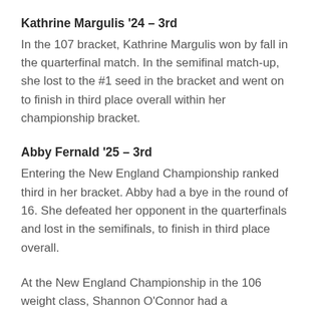Kathrine Margulis '24 – 3rd
In the 107 bracket, Kathrine Margulis won by fall in the quarterfinal match. In the semifinal match-up, she lost to the #1 seed in the bracket and went on to finish in third place overall within her championship bracket.
Abby Fernald '25 – 3rd
Entering the New England Championship ranked third in her bracket. Abby had a bye in the round of 16. She defeated her opponent in the quarterfinals and lost in the semifinals, to finish in third place overall.
At the New England Championship in the 106 weight class, Shannon O'Connor had a